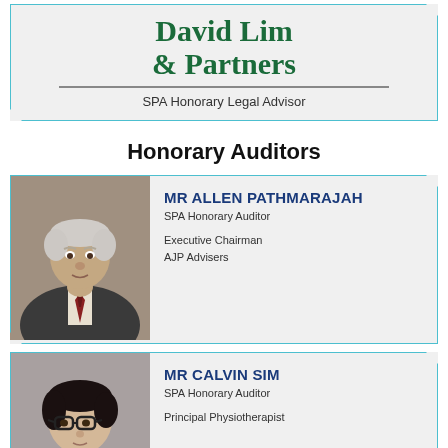[Figure (logo): David Lim & Partners law firm logo with green serif text]
SPA Honorary Legal Advisor
Honorary Auditors
[Figure (photo): Portrait photo of Mr Allen Pathmarajah, elderly man in suit]
MR ALLEN PATHMARAJAH
SPA Honorary Auditor
Executive Chairman
AJP Advisers
[Figure (photo): Portrait photo of Mr Calvin Sim, person with glasses]
MR CALVIN SIM
SPA Honorary Auditor
Principal Physiotherapist